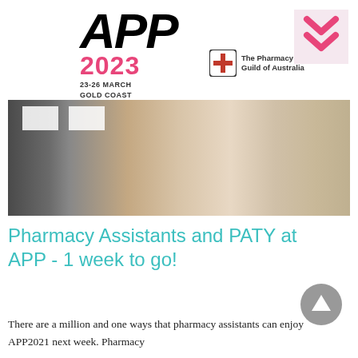[Figure (logo): APP 2023 logo with 'APP' in large black italic text, '2023' in pink, '23-26 MARCH GOLD COAST' below, The Pharmacy Guild of Australia logo, and a pink double-chevron icon on the right]
[Figure (photo): Banner photo of a pharmacy assistant in a white top viewed from behind, standing in a pharmacy environment with displays visible]
Pharmacy Assistants and PATY at APP - 1 week to go!
[Figure (other): Grey circular scroll-up arrow button]
There are a million and one ways that pharmacy assistants can enjoy APP2021 next week. Pharmacy